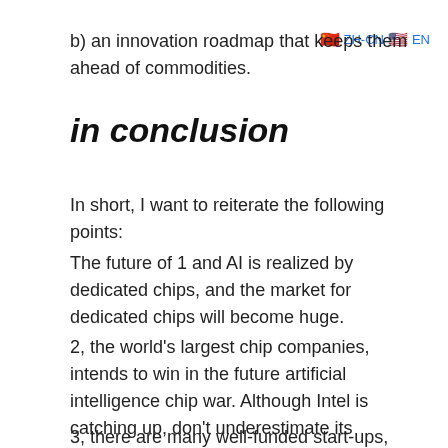b) an innovation roadmap that keeps them ahead of commodities.
in conclusion
In short, I want to reiterate the following points:
The future of 1 and AI is realized by dedicated chips, and the market for dedicated chips will become huge.
2, the world's largest chip companies, intends to win in the future artificial intelligence chip war. Although Intel is catching up, don't underestimate its capabilities.
3, there are many well-funded start-ups, some of